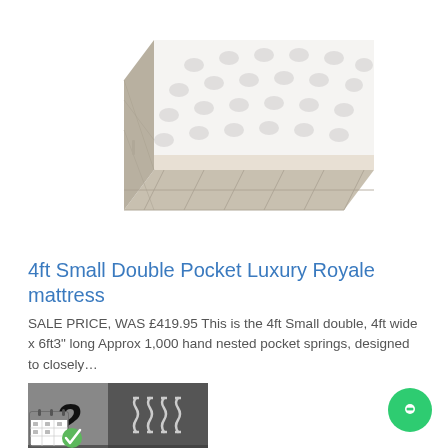[Figure (photo): Photograph of a white quilted mattress with beige/grey diamond-quilted sides, shown at an angle against a white background]
4ft Small Double Pocket Luxury Royale mattress
SALE PRICE, WAS £419.95 This is the 4ft Small double, 4ft wide x 6ft3" long Approx 1,000 hand nested pocket springs, designed to closely…
[Figure (infographic): Product badge showing '2 Med Soft' on grey background and 'Pocket' with coil spring icon]
[Figure (illustration): Calendar icon with checkmark]